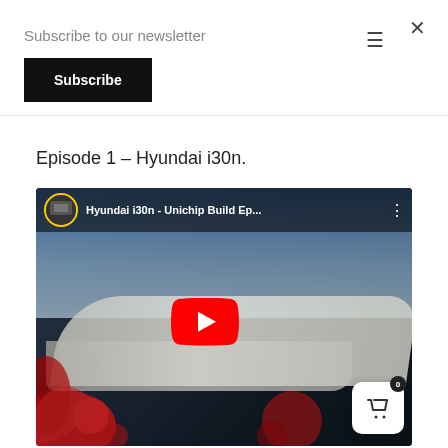Subscribe to our newsletter
Subscribe
Episode 1 – Hyundai i30n.
[Figure (screenshot): YouTube video thumbnail showing a white Hyundai i30n car with red splash graphics. Video title reads 'Hyundai i30n - Unichip Build Ep...' with a YouTube play button in the center. A cart icon with badge showing 0 appears in the bottom right corner.]